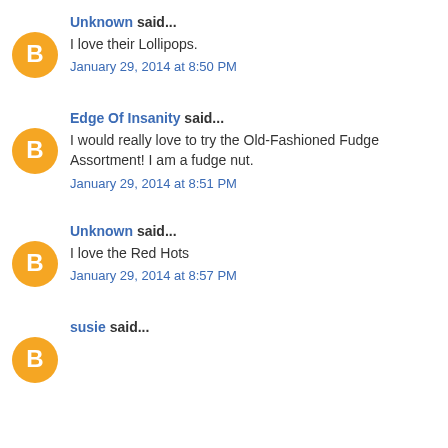Unknown said...
I love their Lollipops.
January 29, 2014 at 8:50 PM
Edge Of Insanity said...
I would really love to try the Old-Fashioned Fudge Assortment! I am a fudge nut.
January 29, 2014 at 8:51 PM
Unknown said...
I love the Red Hots
January 29, 2014 at 8:57 PM
susie said...